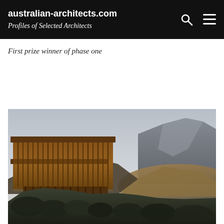australian-architects.com
Profiles of Selected Architects
First prize winner of phase one
[Figure (photo): Architectural rendering of a wooden building with horizontal slats/columns built into a mountainside, with rocky mountain peaks in the background under a grey sky at dusk]